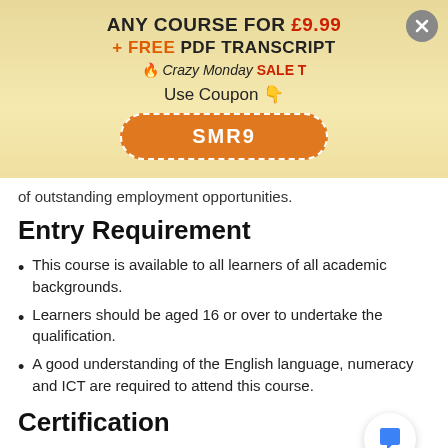[Figure (infographic): Promotional banner with golden gradient background showing course sale offer. Text reads: ANY COURSE FOR £9.99 + FREE PDF TRANSCRIPT 🔥 Crazy Monday SALE T Use Coupon 👇 SMR9 (orange button). Close button (X) in top right corner.]
of outstanding employment opportunities.
Entry Requirement
This course is available to all learners of all academic backgrounds.
Learners should be aged 16 or over to undertake the qualification.
A good understanding of the English language, numeracy and ICT are required to attend this course.
Certification
After you have successfully completed the course,